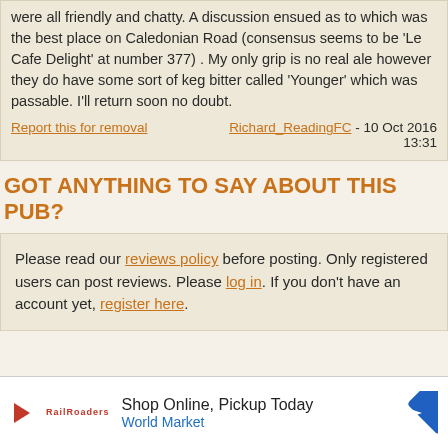were all friendly and chatty. A discussion ensued as to which was the best place on Caledonian Road (consensus seems to be 'Le Cafe Delight' at number 377) . My only grip is no real ale however they do have some sort of keg bitter called 'Younger' which was passable. I'll return soon no doubt.
Report this for removal   Richard_ReadingFC - 10 Oct 2016 13:31
GOT ANYTHING TO SAY ABOUT THIS PUB?
Please read our reviews policy before posting. Only registered users can post reviews. Please log in. If you don't have an account yet, register here.
[Figure (other): Advertisement banner: Shop Online, Pickup Today - World Market, with play button icon and navigation arrow icon]